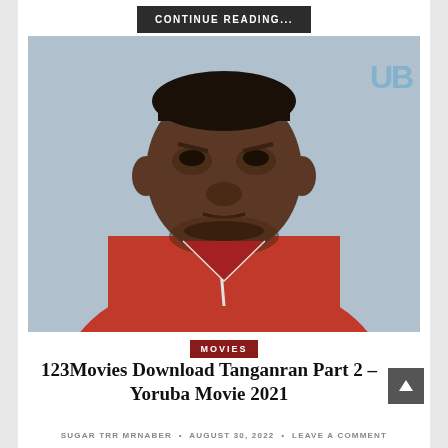CONTINUE READING...
[Figure (photo): A heavy-set man wearing a red outfit, photographed against a light blue-grey background. A watermark 'UB' appears in the top right corner of the image.]
MOVIES
123Movies Download Tanganran Part 2 – Yoruba Movie 2021
SUGAR TRR MRNABER • AUGUST 30, 2022 • LEAVE A COMMENT